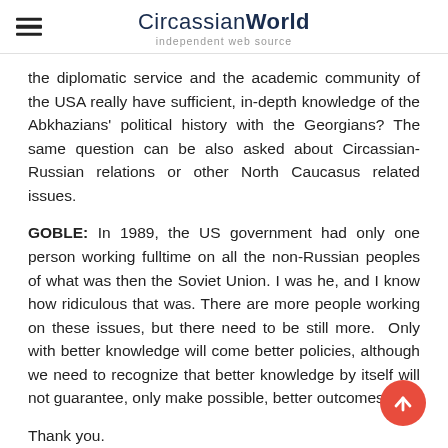CircassianWorld independent web source
the diplomatic service and the academic community of the USA really have sufficient, in-depth knowledge of the Abkhazians' political history with the Georgians? The same question can be also asked about Circassian-Russian relations or other North Caucasus related issues.
GOBLE: In 1989, the US government had only one person working fulltime on all the non-Russian peoples of what was then the Soviet Union. I was he, and I know how ridiculous that was. There are more people working on these issues, but there need to be still more. Only with better knowledge will come better policies, although we need to recognize that better knowledge by itself will not guarantee, only make possible, better outcomes.
Thank you.